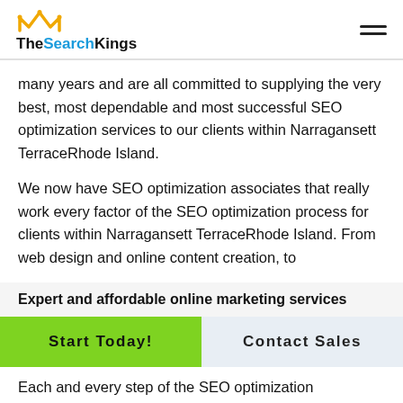TheSearchKings
many years and are all committed to supplying the very best, most dependable and most successful SEO optimization services to our clients within Narragansett TerraceRhode Island.
We now have SEO optimization associates that really work every factor of the SEO optimization process for clients within Narragansett TerraceRhode Island. From web design and online content creation, to
Expert and affordable online marketing services
Start Today!
Contact Sales
Each and every step of the SEO optimization